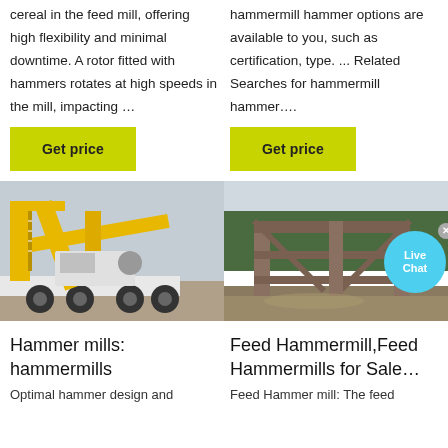cereal in the feed mill, offering high flexibility and minimal downtime. A rotor fitted with hammers rotates at high speeds in the mill, impacting …
hammermill hammer options are available to you, such as certification, type. ... Related Searches for hammermill hammer….
Get price
Get price
[Figure (photo): Yellow industrial crane/hammer mill machine on a truck, construction site background]
[Figure (photo): Outdoor construction or industrial structure with wooden/metal framework, trees in background]
Hammer mills: hammermills
Feed Hammermill,Feed Hammermills for Sale…
Optimal hammer design and
Feed Hammer mill: The feed